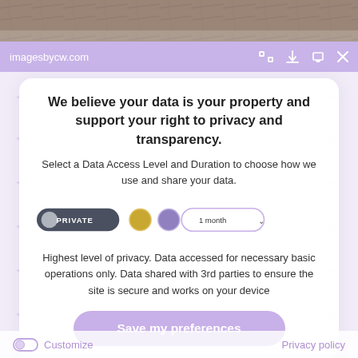[Figure (screenshot): Photo strip at top showing nature/tree background]
imagesbycw.com
We believe your data is your property and support your right to privacy and transparency.
Select a Data Access Level and Duration to choose how we use and share your data.
[Figure (infographic): Privacy controls row: PRIVATE button (dark pill with gray circle), gold circle, purple circle, 1 month dropdown]
Highest level of privacy. Data accessed for necessary basic operations only. Data shared with 3rd parties to ensure the site is secure and works on your device
[Figure (infographic): Save my preferences button (lavender pill button)]
Customize
Privacy policy